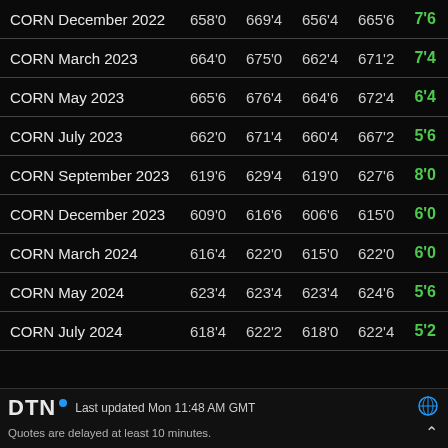| Contract | Open | High | Low | Last | Change |
| --- | --- | --- | --- | --- | --- |
| CORN December 2022 | 658'0 | 669'4 | 656'4 | 665'6 | 7'6 |
| CORN March 2023 | 664'0 | 675'0 | 662'4 | 671'2 | 7'4 |
| CORN May 2023 | 665'6 | 676'4 | 664'6 | 672'4 | 6'4 |
| CORN July 2023 | 662'0 | 671'4 | 660'4 | 667'2 | 5'6 |
| CORN September 2023 | 619'6 | 629'4 | 619'0 | 627'6 | 8'0 |
| CORN December 2023 | 609'0 | 616'6 | 606'6 | 615'0 | 6'0 |
| CORN March 2024 | 616'4 | 622'0 | 615'0 | 622'0 | 6'0 |
| CORN May 2024 | 623'4 | 623'4 | 623'4 | 624'6 | 5'6 |
| CORN July 2024 | 618'4 | 622'2 | 618'0 | 622'4 | 5'2 |
DTN° Last updated Mon 11:48 AM GMT
Quotes are delayed at least 10 minutes.